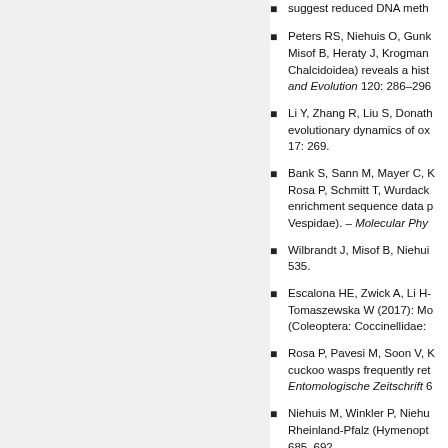suggest reduced DNA methylation...
Peters RS, Niehuis O, Gunk... Misof B, Heraty J, Krogman... Chalcidoidea) reveals a hist... and Evolution 120: 286–296.
Li Y, Zhang R, Liu S, Donath... evolutionary dynamics of ox... 17: 269.
Bank S, Sann M, Mayer C,... Rosa P, Schmitt T, Wurdack... enrichment sequence data p... Vespidae). – Molecular Phy...
Wilbrandt J, Misof B, Niehui... 535.
Escalona HE, Zwick A, Li H-... Tomaszewska W (2017): Mo... (Coleoptera: Coccinellidae:...
Rosa P, Pavesi M, Soon V,... cuckoo wasps frequently ret... Entomologische Zeitschrift 6...
Niehuis M, Winkler P, Niehu... Rheinland-Pfalz (Hymenopt... 685–692.
Peters RS, Krogmann L, Ma... Podsiadlowski L, Petersen M... Polidori C, Schmitt T, Liu S,...